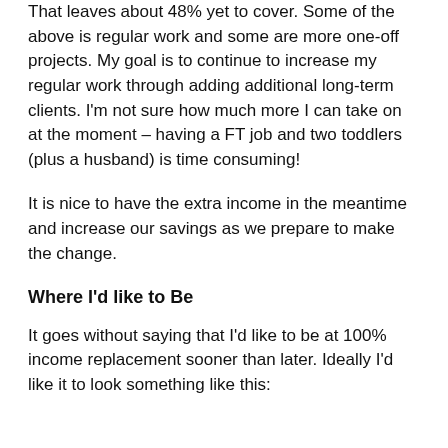That leaves about 48% yet to cover. Some of the above is regular work and some are more one-off projects. My goal is to continue to increase my regular work through adding additional long-term clients. I'm not sure how much more I can take on at the moment – having a FT job and two toddlers (plus a husband) is time consuming!
It is nice to have the extra income in the meantime and increase our savings as we prepare to make the change.
Where I'd like to Be
It goes without saying that I'd like to be at 100% income replacement sooner than later. Ideally I'd like it to look something like this: